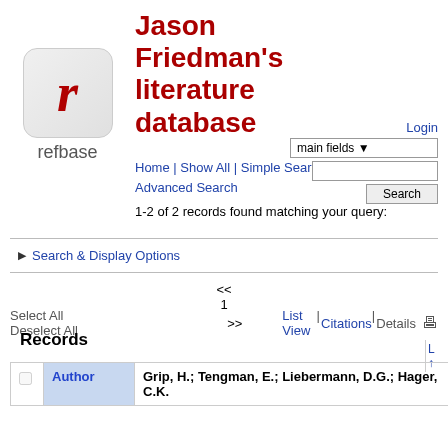[Figure (logo): refbase logo: stylized italic red 'r' in rounded square, with 'refbase' text below]
Jason Friedman's literature database
Home | Show All | Simple Search | Advanced Search
Login
1-2 of 2 records found matching your query:
Search & Display Options
<< 1 >>
Select All   Deselect All      List View | Citations | Details
Records
| Author |
| --- |
| Grip, H.; Tengman, E.; Liebermann, D.G.; Hager, C.K. |